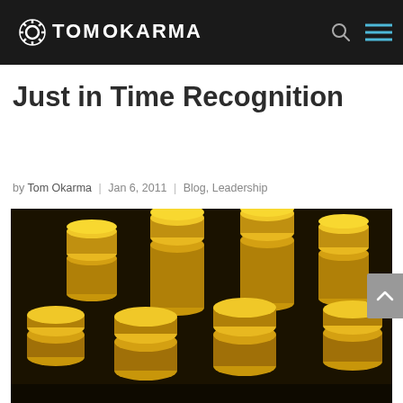TOM OKARMA
Just in Time Recognition
by Tom Okarma | Jan 6, 2011 | Blog, Leadership
[Figure (photo): Stacks of gold coins piled on a dark background, photographed from a low angle]